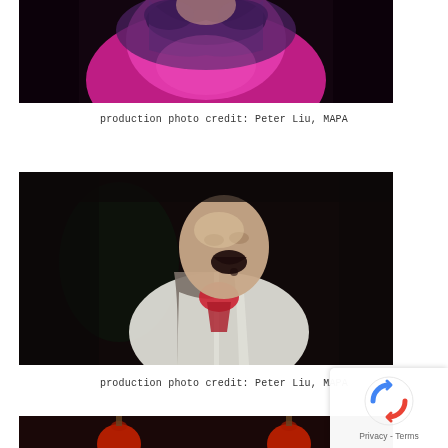[Figure (photo): Top portion of a performer in a theatrical production wearing a magenta/pink and dark purple ornate costume with decorative collar, on a dark stage]
production photo credit: Peter Liu, MAPA
[Figure (photo): A bald male actor in theatrical production wearing a grey vest over white shirt with red cravat/tie, mouth open wide in an expressive singing or acting pose, on dark stage]
production photo credit: Peter Liu, MAPA
[Figure (photo): Partial view of third theatrical production photo showing what appears to be hanging red lanterns on a dark stage — partially cropped at bottom of page]